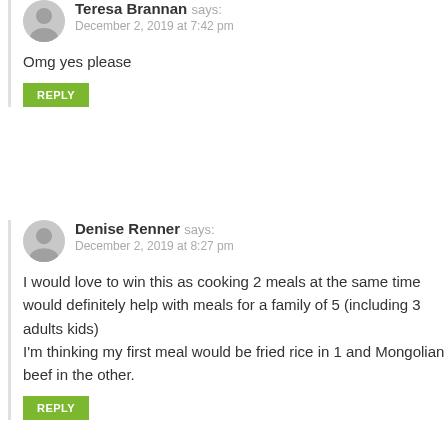Teresa Brannan says: December 2, 2019 at 7:42 pm
Omg yes please
REPLY
Denise Renner says: December 2, 2019 at 8:27 pm
I would love to win this as cooking 2 meals at the same time would definitely help with meals for a family of 5 (including 3 adults kids)
I'm thinking my first meal would be fried rice in 1 and Mongolian beef in the other.
REPLY